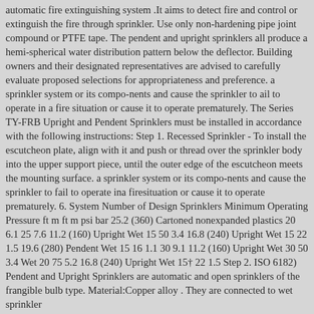automatic fire extinguishing system .It aims to detect fire and control or extinguish the fire through sprinkler. Use only non-hardening pipe joint compound or PTFE tape. The pendent and upright sprinklers all produce a hemi-spherical water distribution pattern below the deflector. Building owners and their designated representatives are advised to carefully evaluate proposed selections for appropriateness and preference. a sprinkler system or its compo-nents and cause the sprinkler to ail to operate in a fire situation or cause it to operate prematurely. The Series TY-FRB Upright and Pendent Sprinklers must be installed in accordance with the following instructions: Step 1. Recessed Sprinkler - To install the escutcheon plate, align with it and push or thread over the sprinkler body into the upper support piece, until the outer edge of the escutcheon meets the mounting surface. a sprinkler system or its compo-nents and cause the sprinkler to fail to operate ina firesituation or cause it to operate prematurely. 6. System Number of Design Sprinklers Minimum Operating Pressure ft m ft m psi bar 25.2 (360) Cartoned nonexpanded plastics 20 6.1 25 7.6 11.2 (160) Upright Wet 15 50 3.4 16.8 (240) Upright Wet 15 22 1.5 19.6 (280) Pendent Wet 15 16 1.1 30 9.1 11.2 (160) Upright Wet 30 50 3.4 Wet 20 75 5.2 16.8 (240) Upright Wet 15† 22 1.5 Step 2. ISO 6182) Pendent and Upright Sprinklers are automatic and open sprinklers of the frangible bulb type. Material:Copper alloy . They are connected to wet sprinkler